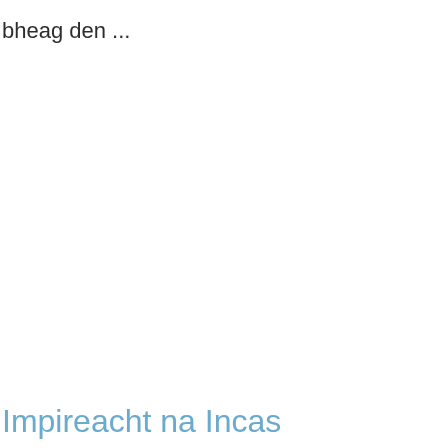bheag den ...
Impireacht na Incas